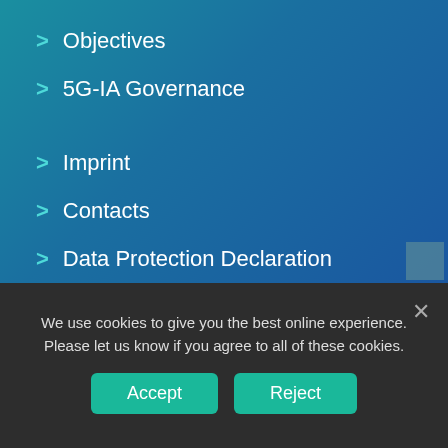> Objectives
> 5G-IA Governance
> Imprint
> Contacts
> Data Protection Declaration
> 5G-PPP Events
We use cookies to give you the best online experience. Please let us know if you agree to all of these cookies.
Accept | Reject